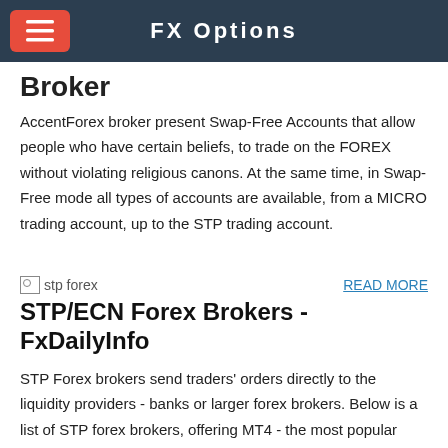FX Options
Broker
AccentForex broker present Swap-Free Accounts that allow people who have certain beliefs, to trade on the FOREX without violating religious canons. At the same time, in Swap-Free mode all types of accounts are available, from a MICRO trading account, up to the STP trading account.
[Figure (photo): Stp forex thumbnail image (broken image icon)]
READ MORE
STP/ECN Forex Brokers - FxDailyInfo
STP Forex brokers send traders' orders directly to the liquidity providers - banks or larger forex brokers. Below is a list of STP forex brokers, offering MT4 - the most popular forex trading platform.
[Figure (illustration): MM, STP, DMA, ECN broker type icons/figures]
READ MORE
ECN trading account - open